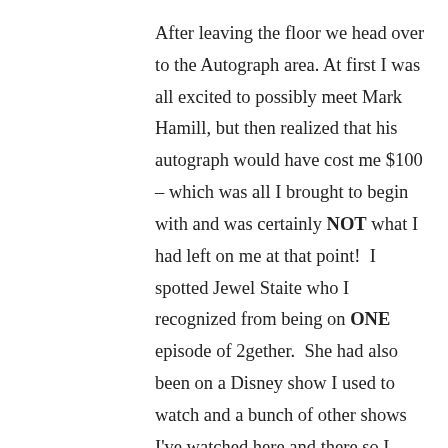After leaving the floor we head over to the Autograph area. At first I was all excited to possibly meet Mark Hamill, but then realized that his autograph would have cost me $100 – which was all I brought to begin with and was certainly NOT what I had left on me at that point!  I spotted Jewel Staite who I recognized from being on ONE episode of 2gether.  She had also been on a Disney show I used to watch and a bunch of other shows I've watched here and there so I opted to go and meet her.  Hey, if I can't meet QT because he has passed away – the next best thing would be to meet everyone he interacted with on the